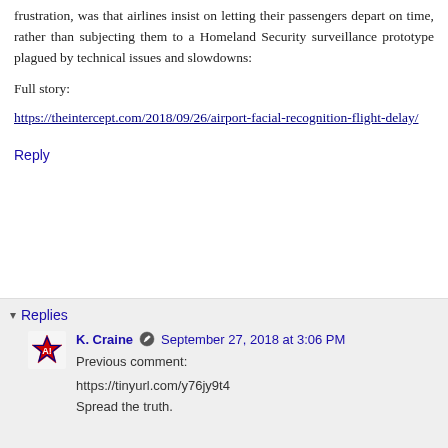frustration, was that airlines insist on letting their passengers depart on time, rather than subjecting them to a Homeland Security surveillance prototype plagued by technical issues and slowdowns:
Full story:
https://theintercept.com/2018/09/26/airport-facial-recognition-flight-delay/
Reply
Replies
K. Craine  September 27, 2018 at 3:06 PM
Previous comment:
https://tinyurl.com/y76jy9t4
Spread the truth.